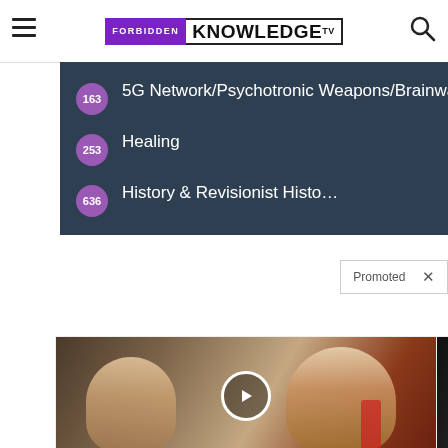FORBIDDEN KNOWLEDGE TV
163 5G Network/Psychotronic Weapons/Brainwave Entrainment/HAARP
253 Healing
636 History & Revisionist History
Promoted ×
[Figure (photo): Video thumbnail of Trump and Melania with play button overlay]
[Figure (photo): Video thumbnail of group of men in suits at CIA with play button overlay and red circle highlight]
Democrats Want This Video Destroyed — Watch Now Before It's Banned
Watch The Video
Biden Probably Wants This Video Destroyed — US Dollar On Path Towards Replacement?
Watch The Video